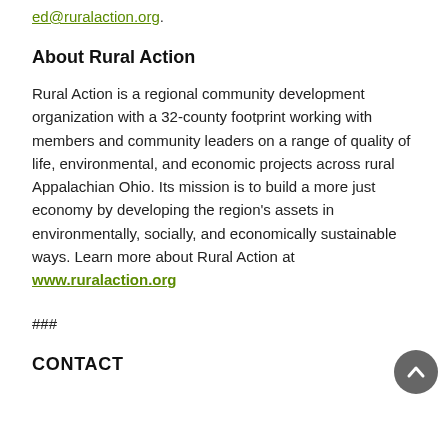ed@ruralaction.org.
About Rural Action
Rural Action is a regional community development organization with a 32-county footprint working with members and community leaders on a range of quality of life, environmental, and economic projects across rural Appalachian Ohio. Its mission is to build a more just economy by developing the region's assets in environmentally, socially, and economically sustainable ways. Learn more about Rural Action at www.ruralaction.org
###
CONTACT